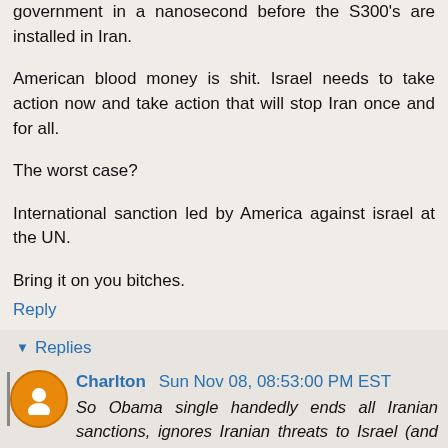government in a nanosecond before the S300's are installed in Iran.
American blood money is shit. Israel needs to take action now and take action that will stop Iran once and for all.
The worst case?
International sanction led by America against israel at the UN.
Bring it on you bitches.
Reply
Replies
Charlton Sun Nov 08, 08:53:00 PM EST
So Obama single handedly ends all Iranian sanctions, ignores Iranian threats to Israel (and America), unfreezes 160 BILLION, and opens up Iran to export 20 billion a year in oil, stand quiet as Iran sends troops to Syria, tests illegal